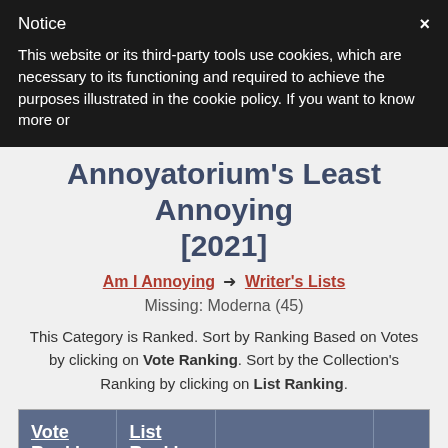Notice
×
This website or its third-party tools use cookies, which are necessary to its functioning and required to achieve the purposes illustrated in the cookie policy. If you want to know more or
Annoyatorium's Least Annoying [2021]
Am I Annoying → Writer's Lists
Missing: Moderna (45)
This Category is Ranked. Sort by Ranking Based on Votes by clicking on Vote Ranking. Sort by the Collection's Ranking by clicking on List Ranking.
| Vote Ranking | List Ranking |  |  |
| --- | --- | --- | --- |
| 10 | 0 | Annoyatorium
Internet Website |  |